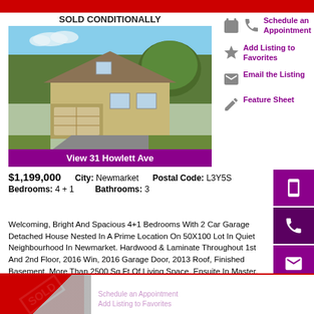[Figure (photo): Top red banner strip at top of page]
SOLD CONDITIONALLY
[Figure (photo): Exterior photo of detached house at 31 Howlett Ave, Newmarket, with green lawn and driveway, trees in background]
View 31 Howlett Ave
Schedule an Appointment
Add Listing to Favorites
Email the Listing
Feature Sheet
$1,199,000   City: Newmarket   Postal Code: L3Y5S
Bedrooms: 4 + 1   Bathrooms: 3
Welcoming, Bright And Spacious 4+1 Bedrooms With 2 Car Garage Detached House Nested In A Prime Location On 50X100 Lot In Quiet Neighbourhood In Newmarket. Hardwood & Laminate Throughout 1st And 2nd Floor, 2016 Win, 2016 Garage Door, 2013 Roof, Finished Basement, More Than 2500 Sq Ft Of Living Space, Ensuite In Master, Kitchen With Eating Area, Large Family With Fireplace, Access To Garage, Tons Of Storage Space. Close To A Major Hospital, Schools, Parks, Shopping Mall, 404 Hwy. A Must See!
[Figure (photo): Bottom partial listing card with SOLD banner overlay in red]